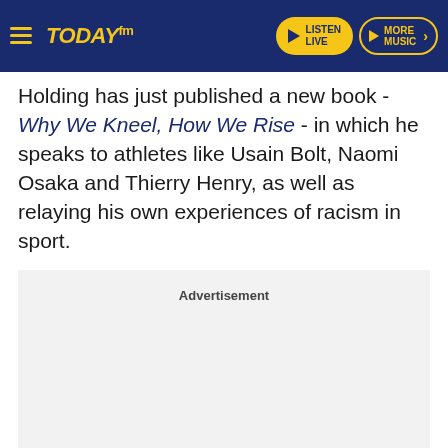Today FM | LISTEN LIVE | MORE MUSIC
Holding has just published a new book - Why We Kneel, How We Rise - in which he speaks to athletes like Usain Bolt, Naomi Osaka and Thierry Henry, as well as relaying his own experiences of racism in sport.
[Figure (other): Advertisement placeholder box with light grey background and 'Advertisement' label at top center]